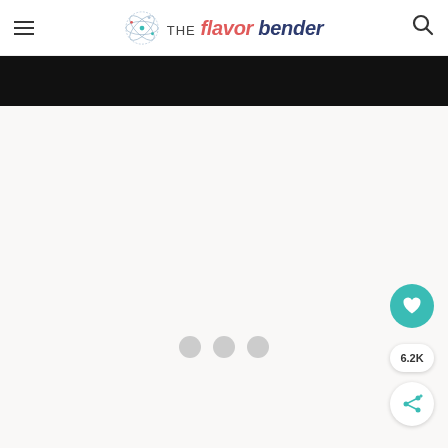The Flavor Bender — website header with hamburger menu, logo, and search icon
[Figure (photo): Dark/black image strip below the header]
[Figure (other): Loading spinner with three grey dots on light grey background]
[Figure (infographic): Floating teal heart button with 6.2K count and share button on right side]